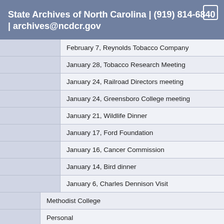State Archives of North Carolina | (919) 814-6840 | archives@ncdcr.gov
February 7, Reynolds Tobacco Company
January 28, Tobacco Research Meeting
January 24, Railroad Directors meeting
January 24, Greensboro College meeting
January 21, Wildlife Dinner
January 17, Ford Foundation
January 16, Cancer Commission
January 14, Bird dinner
January 6, Charles Dennison Visit
Methodist College
Personal
General